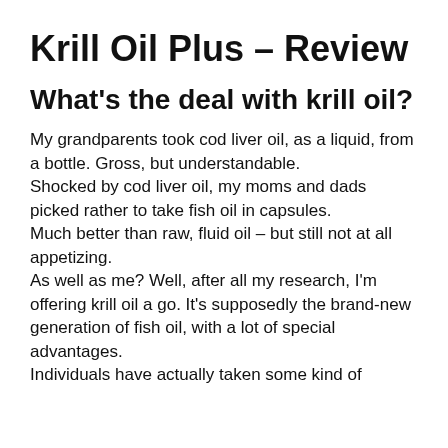Krill Oil Plus – Review
What's the deal with krill oil?
My grandparents took cod liver oil, as a liquid, from a bottle. Gross, but understandable.
Shocked by cod liver oil, my moms and dads picked rather to take fish oil in capsules.
Much better than raw, fluid oil – but still not at all appetizing.
As well as me? Well, after all my research, I'm offering krill oil a go. It's supposedly the brand-new generation of fish oil, with a lot of special advantages.
Individuals have actually taken some kind of